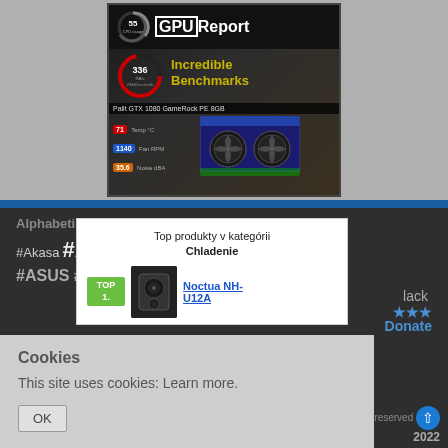[Figure (screenshot): GPU Report website screenshot showing a GPU benchmark page with Palit GTX 1080 GameRock PE 8GB graphics card, with gauges showing 55% CPU usage, 336 GB/s VRAM bandwidth, 71°C temp, 1140 fan RPM, 35.6 noise dBA. Text reads 'Incredible Benchmarks'.]
Alphabetical list of hashtags
#Akasa #AM... Arctic #
#ASUS #Be-Qu... ...DU
[Figure (screenshot): Popup overlay showing 'Top produkty v kategórii Chladenie' with TOP 1. Noctua NH-U12A product listing]
Top produkty v kategórii Chladenie
Noctua NH-U12A
lack
Donate
Cookies
This site uses cookies: Learn more.
OK
rights reserved 2022